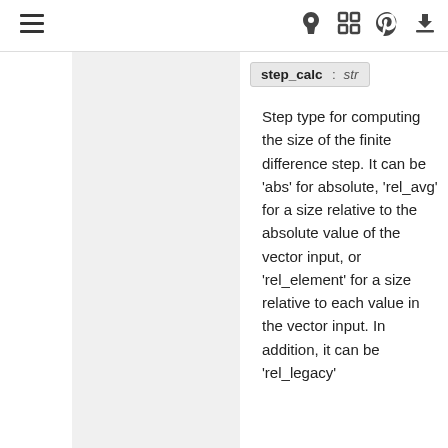≡  🚀  [ ]  ⌂  ↓
step_calc : str
Step type for computing the size of the finite difference step. It can be 'abs' for absolute, 'rel_avg' for a size relative to the absolute value of the vector input, or 'rel_element' for a size relative to each value in the vector input. In addition, it can be 'rel_legacy'